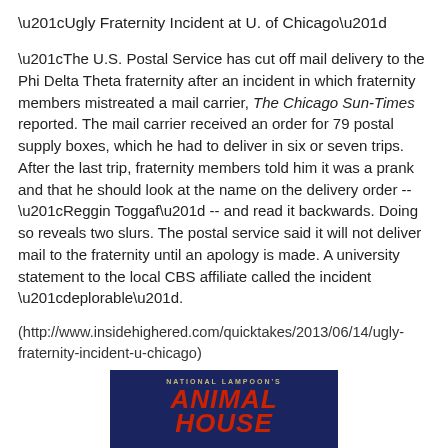“Ugly Fraternity Incident at U. of Chicago”
“The U.S. Postal Service has cut off mail delivery to the Phi Delta Theta fraternity after an incident in which fraternity members mistreated a mail carrier, The Chicago Sun-Times reported. The mail carrier received an order for 79 postal supply boxes, which he had to deliver in six or seven trips. After the last trip, fraternity members told him it was a prank and that he should look at the name on the delivery order -- “Reggin Toggaf” -- and read it backwards. Doing so reveals two slurs. The postal service said it will not deliver mail to the fraternity until an apology is made. A university statement to the local CBS affiliate called the incident “deplorable”.
(http://www.insidehighered.com/quicktakes/2013/06/14/ugly-fraternity-incident-u-chicago)
[Figure (photo): National Lampoon's Animal House movie poster/cover image showing the title in large red letters on a blue background]